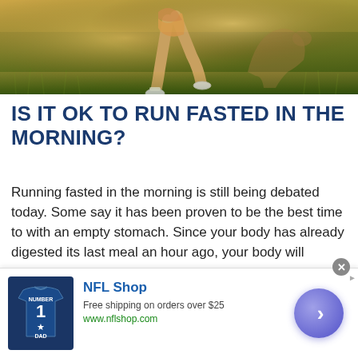[Figure (photo): Partial photo of a runner's legs in athletic clothing running through a golden grassy field outdoors]
IS IT OK TO RUN FASTED IN THE MORNING?
Running fasted in the morning is still being debated today. Some say it has been proven to be the best time to with an empty stomach. Since your body has already digested its last meal an hour ago, your body will already have a low glycogen store. Making it easier for the body to use fat as an energy source.
[Figure (screenshot): NFL Shop advertisement banner with jersey image, text reading 'NFL Shop', 'Free shipping on orders over $25', 'www.nflshop.com', and a purple circle button with chevron arrow]